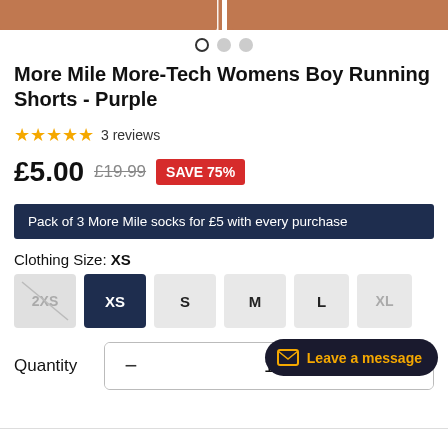[Figure (photo): Product image strip showing More Mile More-Tech Womens Boy Running Shorts in Purple, cropped top portion visible]
More Mile More-Tech Womens Boy Running Shorts - Purple
★★★★★ 3 reviews
£5.00 £19.99 SAVE 75%
Pack of 3 More Mile socks for £5 with every purchase
Clothing Size: XS
Size options: 2XS (disabled), XS (selected), S, M, L, XL
Quantity  −  1  +